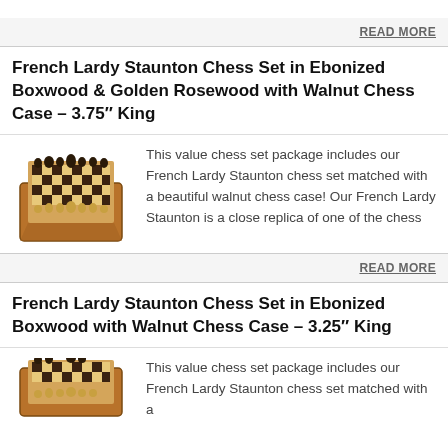READ MORE
French Lardy Staunton Chess Set in Ebonized Boxwood & Golden Rosewood with Walnut Chess Case – 3.75″ King
[Figure (photo): Photo of a French Lardy Staunton chess set with ebonized and golden rosewood pieces on a walnut chess case board]
This value chess set package includes our French Lardy Staunton chess set matched with a beautiful walnut chess case! Our French Lardy Staunton is a close replica of one of the chess
READ MORE
French Lardy Staunton Chess Set in Ebonized Boxwood with Walnut Chess Case – 3.25″ King
[Figure (photo): Photo of a French Lardy Staunton chess set in ebonized boxwood with walnut chess case, partially visible]
This value chess set package includes our French Lardy Staunton chess set matched with a